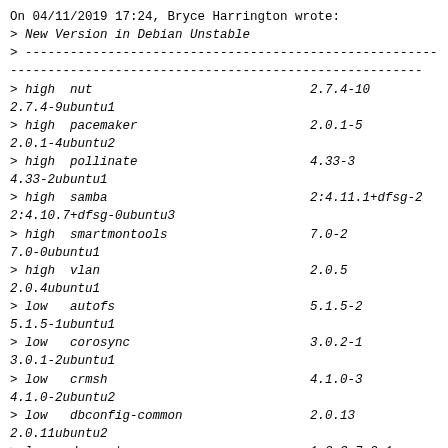On 04/11/2019 17:24, Bryce Harrington wrote:
> New Version in Debian Unstable
> --------------------------------------------------------
--------------------------------------------------------
> high  nut                             2.7.4-10
2.7.4-9ubuntu1
> high  pacemaker                       2.0.1-5
2.0.1-4ubuntu2
> high  pollinate                       4.33-3
4.33-2ubuntu1
> high  samba                           2:4.11.1+dfsg-2
2:4.10.7+dfsg-0ubuntu3
> high  smartmontools                   7.0-2
7.0-0ubuntu1
> high  vlan                            2.0.5
2.0.4ubuntu1
> low   autofs                          5.1.5-2
5.1.5-1ubuntu1
> low   corosync                        3.0.2-1
3.0.1-2ubuntu1
> low   crmsh                           4.1.0-3
4.1.0-2ubuntu2
> low   dbconfig-common                 2.0.13
2.0.11ubuntu2
> low   dovecot                         1:2.3.7.2-1
1:2.3.4.1-5ubuntu3
> low   ebtables
2.0.10.4+snapshot20181205-3  2.0.10.4+snapshot20181205-
1ubuntu1
> low   etckeeper                       1.18.10.1-1